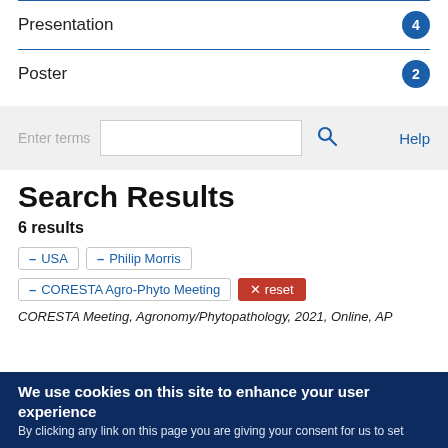Presentation  4
Poster  2
Enter terms  [search box]  Help
Search Results
6 results
– USA  – Philip Morris  – CORESTA Agro-Phyto Meeting  × reset
CORESTA Meeting, Agronomy/Phytopathology, 2021, Online, AP
We use cookies on this site to enhance your user experience
By clicking any link on this page you are giving your consent for us to set